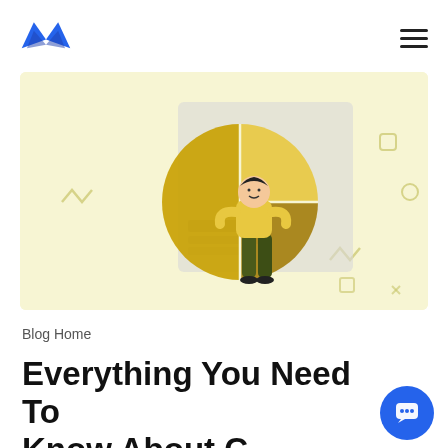Mailmodo logo and navigation menu
[Figure (illustration): Illustration of a person standing in front of a large pie chart on a light yellow background, with decorative shapes around the edges.]
Blog Home
Everything You Need To Know About C...